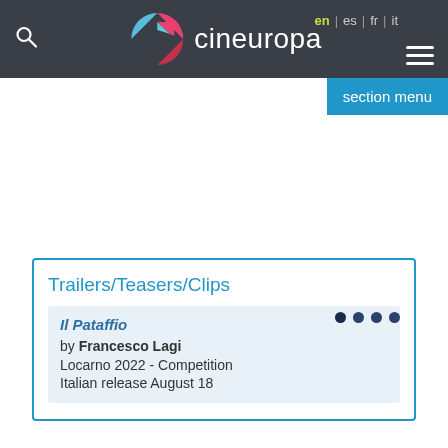cineuropa — en | es | fr | it — section menu
Trailers/Teasers/Clips
Il Pataffio
by Francesco Lagi
Locarno 2022 - Competition
Italian release August 18